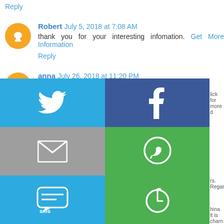Reply
Robert  July 5, 2018 at 7:08 AM
thank you for your interesting infomation. Get More Information
Reply
anna  July 26, 2018 at 11:20 PM
This is a great article thanks for sharing this informative informa post. , you can read more: automatic cat feeders reviews
Reply
[Figure (infographic): Social share buttons grid: Twitter (blue), Facebook (dark blue), Email (gray), WhatsApp (green), SMS (blue), and another green icon. Partial text visible on right: 'lick for more d', 'rs. Regardless', 'hina it is charn']